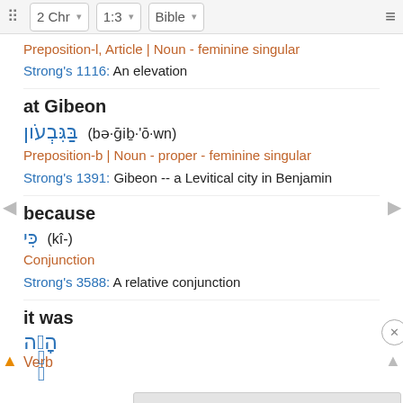2 Chr  1:3  Bible
Preposition-l, Article | Noun - feminine singular
Strong's 1116: An elevation
at Gibeon
בַּגִּבְעֹון (bə·ḡiḇ·'ō·wn)
Preposition-b | Noun - proper - feminine singular
Strong's 1391: Gibeon -- a Levitical city in Benjamin
because
כִּי (kî-)
Conjunction
Strong's 3588: A relative conjunction
it was
הָיָה
Verb